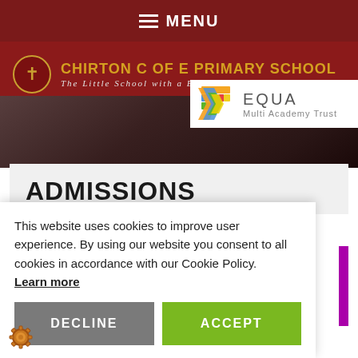MENU
CHIRTON C OF E PRIMARY SCHOOL - The Little School with a Big Heart
[Figure (logo): EQUA Multi Academy Trust logo with colorful chevron/arrow shapes]
[Figure (photo): Children looking at candles, dimly lit photo]
ADMISSIONS
This website uses cookies to improve user experience. By using our website you consent to all cookies in accordance with our Cookie Policy. Learn more
DECLINE
ACCEPT